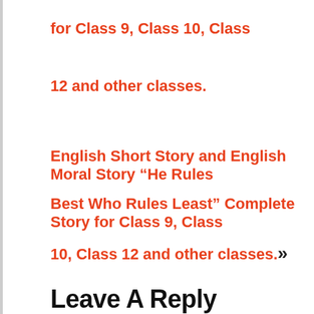for Class 9, Class 10, Class
12 and other classes.
English Short Story and English Moral Story “He Rules
Best Who Rules Least” Complete Story for Class 9, Class
10, Class 12 and other classes.»
Leave A Reply